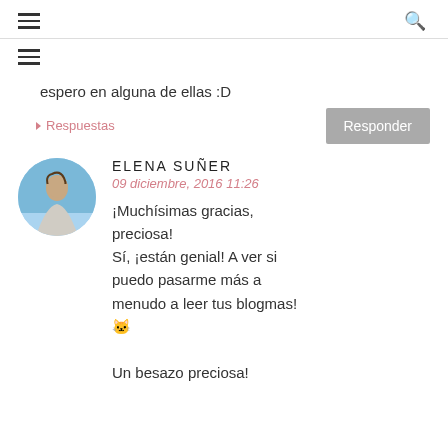≡  🔍
espero en alguna de ellas :D
▸ Respuestas
ELENA SUÑER
09 diciembre, 2016 11:26
¡Muchísimas gracias, preciosa!
Sí, ¡están genial! A ver si puedo pasarme más a menudo a leer tus blogmas! 😸
Un besazo preciosa!